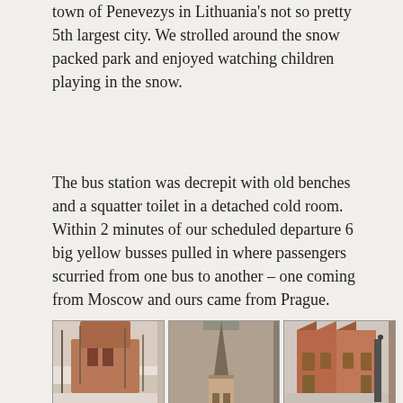town of Penevezys in Lithuania's not so pretty 5th largest city.  We strolled around the snow packed park and enjoyed watching children playing in the snow.
The bus station was decrepit with old benches and a squatter toilet in a detached cold room. Within 2 minutes of our scheduled departure 6 big yellow busses pulled in where passengers scurried from one bus to another – one coming from Moscow and ours came from Prague.
[Figure (photo): Grid of travel photographs showing historic buildings and churches in what appears to be Riga, Latvia in winter with snow. Six visible photos arranged in two full rows and one partial row: red brick building with snow, tall church spire from below, ornate red brick facade (House of Blackheads), round brick tower structure, tall gothic church facade, neoclassical yellow building with columns, and two additional partial images at the bottom.]